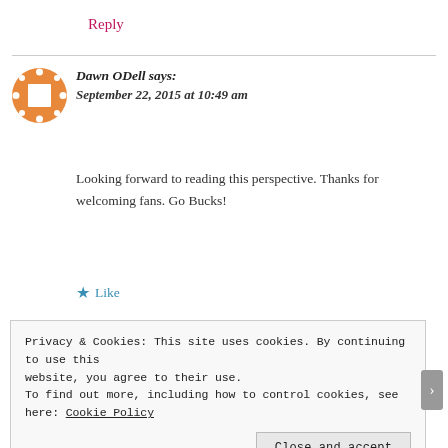Reply
[Figure (illustration): Orange decorative avatar icon with square center and diamond border pattern]
Dawn ODell says:
September 22, 2015 at 10:49 am
Looking forward to reading this perspective. Thanks for welcoming fans. Go Bucks!
Like
Privacy & Cookies: This site uses cookies. By continuing to use this website, you agree to their use.
To find out more, including how to control cookies, see here: Cookie Policy
Close and accept